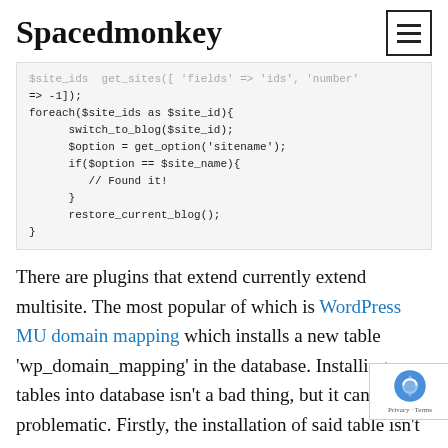Spacedmonkey
[Figure (screenshot): Code block showing PHP code with foreach loop using switch_to_blog, get_option, if condition checking $option == $site_name, and restore_current_blog()]
There are plugins that extend currently extend multisite. The most popular of which is WordPress MU domain mapping which installs a new table 'wp_domain_mapping' in the database. Installing new tables into database isn't a bad thing, but it can problematic. Firstly, the installation of said table isn't